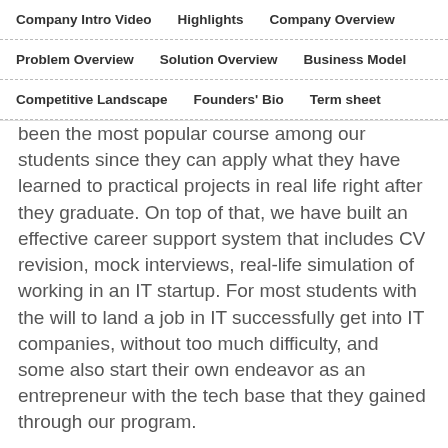Company Intro Video | Highlights | Company Overview
Problem Overview | Solution Overview | Business Model
Competitive Landscape | Founders' Bio | Term sheet
been the most popular course among our students since they can apply what they have learned to practical projects in real life right after they graduate. On top of that, we have built an effective career support system that includes CV revision, mock interviews, real-life simulation of working in an IT startup. For most students with the will to land a job in IT successfully get into IT companies, without too much difficulty, and some also start their own endeavor as an entrepreneur with the tech base that they gained through our program.
Second, "Python Nights." This is a 16-week program for students who are interested in big data analysis, data visualization, game development, and artificial intelligence.